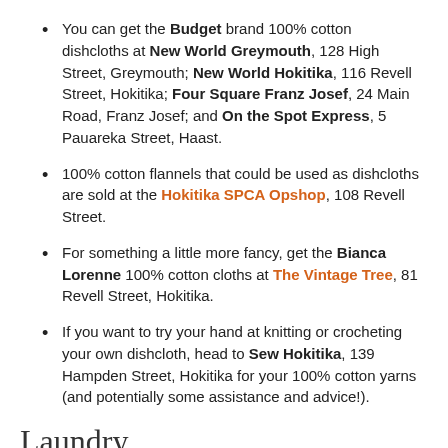You can get the Budget brand 100% cotton dishcloths at New World Greymouth, 128 High Street, Greymouth; New World Hokitika, 116 Revell Street, Hokitika; Four Square Franz Josef, 24 Main Road, Franz Josef; and On the Spot Express, 5 Pauareka Street, Haast.
100% cotton flannels that could be used as dishcloths are sold at the Hokitika SPCA Opshop, 108 Revell Street.
For something a little more fancy, get the Bianca Lorenne 100% cotton cloths at The Vintage Tree, 81 Revell Street, Hokitika.
If you want to try your hand at knitting or crocheting your own dishcloth, head to Sew Hokitika, 139 Hampden Street, Hokitika for your 100% cotton yarns (and potentially some assistance and advice!).
Laundry
Eco Planet and Next Generation laundry powder brands both come in a cardboard box with no inner plastic lining, and the scoop is also made of